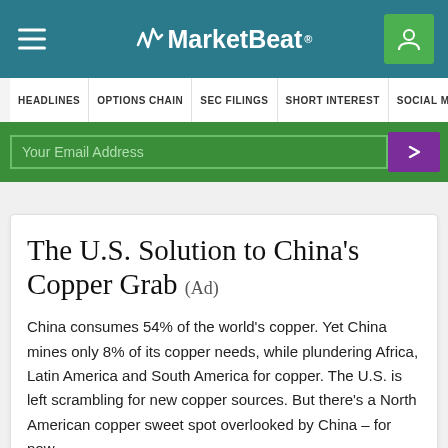MarketBeat
HEADLINES OPTIONS CHAIN SEC FILINGS SHORT INTEREST SOCIAL MEDIA
Your Email Address
The U.S. Solution to China's Copper Grab (Ad)
China consumes 54% of the world’s copper. Yet China mines only 8% of its copper needs, while plundering Africa, Latin America and South America for copper. The U.S. is left scrambling for new copper sources. But there’s a North American copper sweet spot overlooked by China – for now.